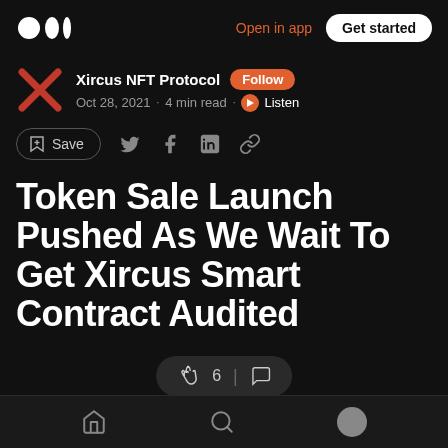Medium app header with logo, Open in app, Get started
Xircus NFT Protocol · Follow · Oct 28, 2021 · 4 min read · Listen
Save (with social share icons: Twitter, Facebook, LinkedIn, Link)
Token Sale Launch Pushed As We Wait To Get Xircus Smart Contract Audited
We're making significant advances with the
Bottom nav: Home, Search, Profile